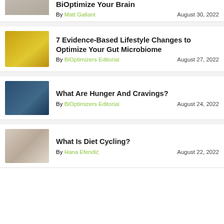[Figure (photo): Partial image of BiOptimize Your Brain article thumbnail]
BiOptimize Your Brain
By Matt Gallant   August 30, 2022
[Figure (photo): Golden capsules/supplements scattered on dark background]
7 Evidence-Based Lifestyle Changes to Optimize Your Gut Microbiome
By BiOptimizers Editorial   August 27, 2022
[Figure (photo): Person meditating or shrugging against dark blue background]
What Are Hunger And Cravings?
By BiOptimizers Editorial   August 24, 2022
[Figure (photo): Meal plan notebook with handwritten notes and a hand holding pen]
What Is Diet Cycling?
By Hana Efendić   August 22, 2022